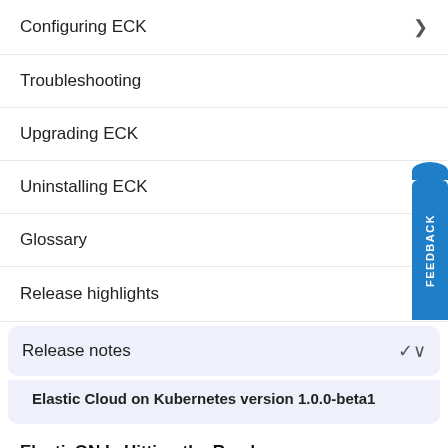Configuring ECK
Troubleshooting
Upgrading ECK
Uninstalling ECK
Glossary
Release highlights
Release notes
Elastic Cloud on Kubernetes version 1.0.0-beta1
ElasticON Is Hitting the Road
Brilliant speakers. The latest Elastic release updates. Expert advice from the solution developers.